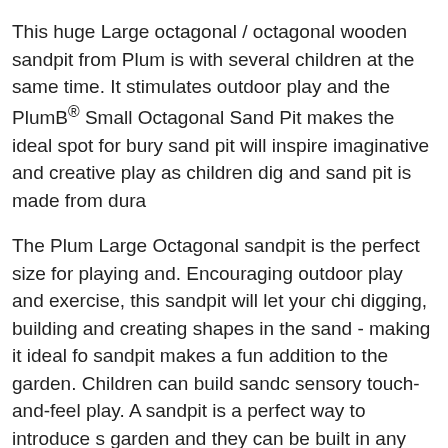This huge Large octagonal / octagonal wooden sandpit from Plum is with several children at the same time. It stimulates outdoor play and the PlumB® Small Octagonal Sand Pit makes the ideal spot for bury sand pit will inspire imaginative and creative play as children dig and sand pit is made from dura
The Plum Large Octagonal sandpit is the perfect size for playing and. Encouraging outdoor play and exercise, this sandpit will let your chi digging, building and creating shapes in the sand - making it ideal fo sandpit makes a fun addition to the garden. Children can build sandc sensory touch-and-feel play. A sandpit is a perfect way to introduce s garden and they can be built in any shape or size to suit your outdoor
There are many benefits to buying a sandpit - especially the beautifu that we have at Big Game Hunters. Getting your children in contact w of preparing them for beaches and pre-school, making them used to t material. Treasure Beach Childrens Sand Pit with Protective Cover C outdoor fun in this great octagonal sand box from Plum! Encouragin this wooden sand pit will let your childrenвЋ™s creativity run wild,